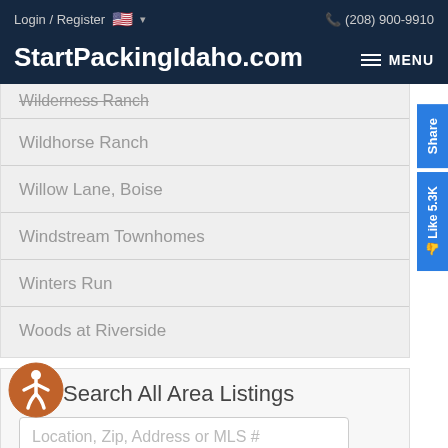Login / Register  🇺🇸 ▾     (208) 900-9910
StartPackingIdaho.com
Wilderness Ranch
Wildhorse Ranch
Willow Lane, Boise
Windstream Townhomes
Winters Run
Woods at Riverside
Search All Area Listings
Location, Zip, Address or MLS #